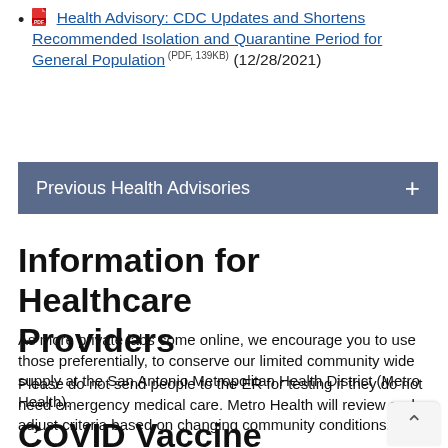Health Advisory: CDC Updates and Shortens Recommended Isolation and Quarantine Period for General Population (PDF, 139KB) (12/28/2021)
Previous Health Advisories
Information for Healthcare Providers
As more private labs come online, we encourage you to use those preferentially, to conserve our limited community wide supply at the San Antonio Metropolitan Health District (Metro Health).
Please do not send people to the ER for testing if they do not need emergency medical care. Metro Health will review and adjust criteria based on changing community conditions.
COVID Vaccine